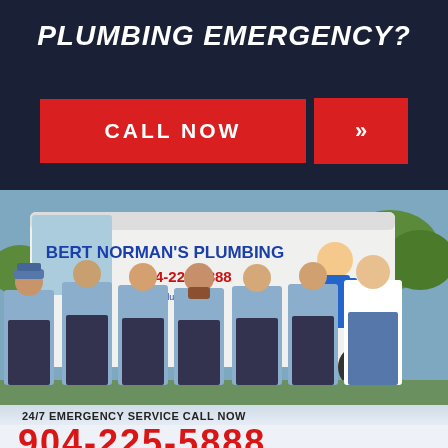PLUMBING EMERGENCY?
CALL NOW »
[Figure (photo): Group of plumbers in blue uniforms standing in front of a white Bert Norman's Plumbing van. Van shows company name, phone number 904-225-5888, and website.]
24/7 EMERGENCY SERVICE CALL NOW
904-225-5888